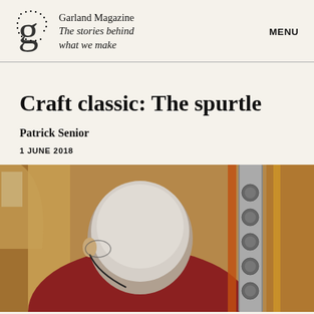Garland Magazine
The stories behind what we make
MENU
Craft classic: The spurtle
Patrick Senior
1 JUNE 2018
[Figure (photo): A person with short grey/white hair seen from behind, wearing a dark red top, with workshop/wooden structures visible in the background including a metallic panel with circular elements.]